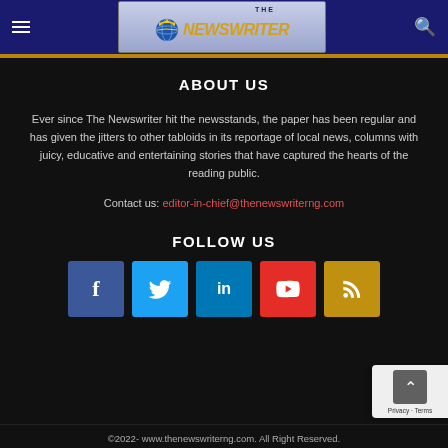The Newswriter - header navigation
[Figure (logo): The Newswriter logo with globe graphic, yellow and blue text on gradient background]
ABOUT US
Ever since The Newswriter hit the newsstands, the paper has been regular and has given the jitters to other tabloids in its reportage of local news, columns with juicy, educative and entertaining stories that have captured the hearts of the reading public.
Contact us: editor-in-chief@thenewswriterng.com
FOLLOW US
[Figure (infographic): Social media icon buttons: Facebook (blue), Twitter (light blue), LinkedIn (dark blue), YouTube (red), RSS (gold)]
©2022- www.thenewswriterng.com. All Right Reserved.